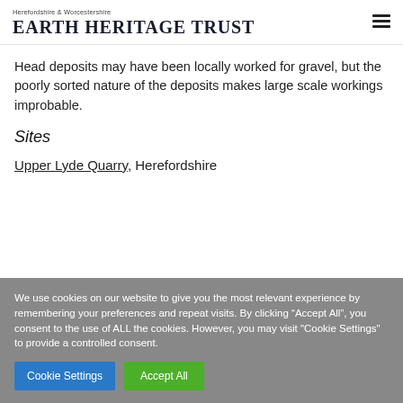Herefordshire & Worcestershire Earth Heritage Trust
Head deposits may have been locally worked for gravel, but the poorly sorted nature of the deposits makes large scale workings improbable.
Sites
Upper Lyde Quarry, Herefordshire
We use cookies on our website to give you the most relevant experience by remembering your preferences and repeat visits. By clicking “Accept All”, you consent to the use of ALL the cookies. However, you may visit "Cookie Settings" to provide a controlled consent.